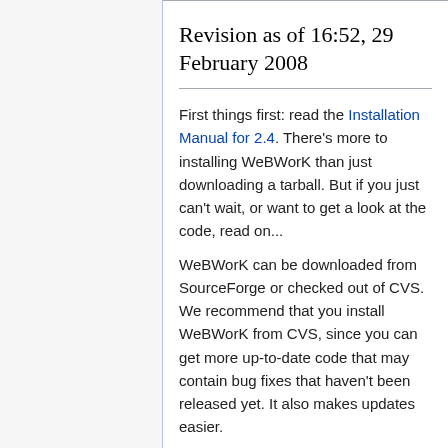Revision as of 16:52, 29 February 2008
First things first: read the Installation Manual for 2.4. There's more to installing WeBWorK than just downloading a tarball. But if you just can't wait, or want to get a look at the code, read on...
WeBWorK can be downloaded from SourceForge or checked out of CVS. We recommend that you install WeBWorK from CVS, since you can get more up-to-date code that may contain bug fixes that haven't been released yet. It also makes updates easier.
The current version of WeBWorK is 2.4.1. The current version of the PG Language is 2.4.0.